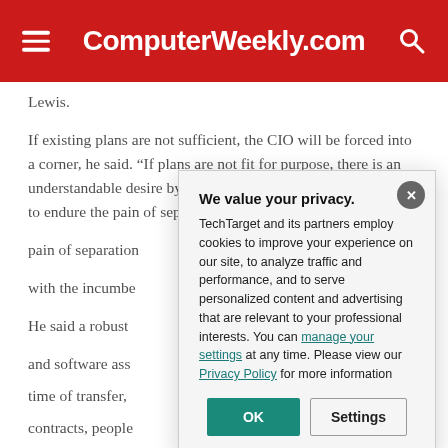ComputerWeekly.com
Lewis.
If existing plans are not sufficient, the CIO will be forced into a corner, he said. “If plans are not fit for purpose, there is an understandable desire by CIOs and their other colleagues not to endure the pain of separation from [the incumbent supplier]. But the pain of separation from the supplier, compared with the incumbent’s
He said a robust [plan should cover] hardware and software assets, what is operational at the time of transfer, what is being developed, contracts, people and intellectual property. In other words, all the data, information, processes, assets and know-how needed by the new provider to make a successful and sustainable transition."
We value your privacy.
TechTarget and its partners employ cookies to improve your experience on our site, to analyze traffic and performance, and to serve personalized content and advertising that are relevant to your professional interests. You can manage your settings at any time. Please view our Privacy Policy for more information